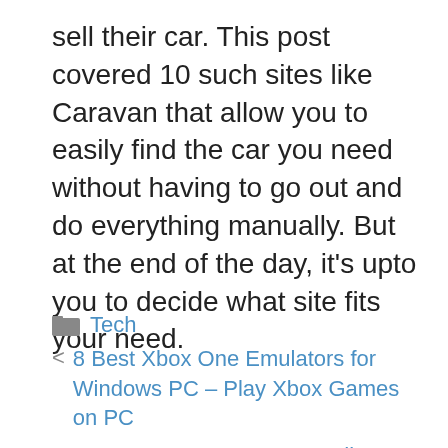sell their car. This post covered 10 such sites like Caravan that allow you to easily find the car you need without having to go out and do everything manually. But at the end of the day, it's upto you to decide what site fits your need.
Tech
< 8 Best Xbox One Emulators for Windows PC – Play Xbox Games on PC
> Buy Now Pay Later No Credit Check Instant Approval Sites